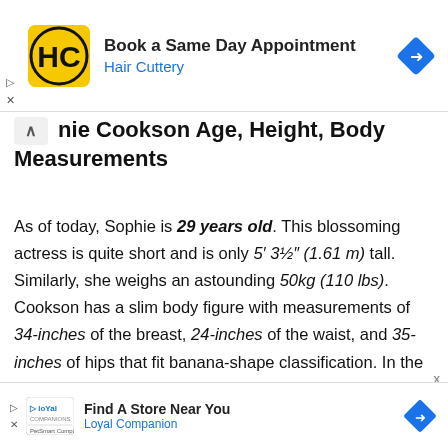[Figure (logo): Hair Cuttery ad banner with HC logo, 'Book a Same Day Appointment', 'Hair Cuttery', and navigation arrow diamond icon]
Sophie Cookson Age, Height, Body Measurements
As of today, Sophie is 29 years old. This blossoming actress is quite short and is only 5′ 3½″ (1.61 m) tall. Similarly, she weighs an astounding 50kg (110 lbs). Cookson has a slim body figure with measurements of 34-inches of the breast, 24-inches of the waist, and 35-inches of hips that fit banana-shape classification. In the same way, she wears a bra size of 34A and a dress of 4.
[Figure (logo): Loyal Companion ad banner with logo, 'Find A Store Near You', 'Loyal Companion', and navigation arrow diamond icon]